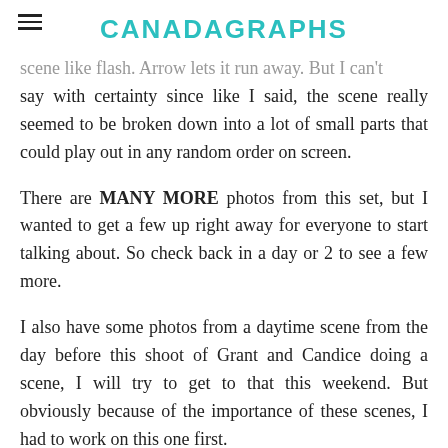CANADAGRAPHS
scene like flash. Arrow lets it run away. But I can't say with certainty since like I said, the scene really seemed to be broken down into a lot of small parts that could play out in any random order on screen.
There are MANY MORE photos from this set, but I wanted to get a few up right away for everyone to start talking about. So check back in a day or 2 to see a few more.
I also have some photos from a daytime scene from the day before this shoot of Grant and Candice doing a scene, I will try to get to that this weekend. But obviously because of the importance of these scenes, I had to work on this one first.